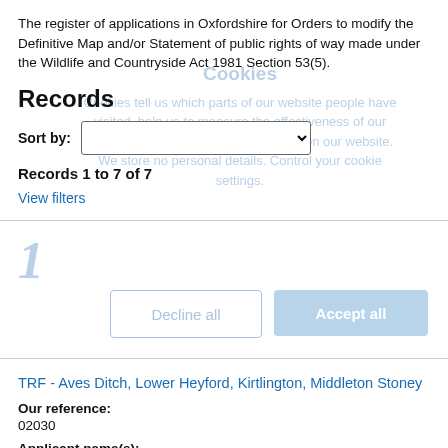The register of applications in Oxfordshire for Orders to modify the Definitive Map and/or Statement of public rights of way made under the Wildlife and Countryside Act 1981 Section 53(5).
Records
Sort by:
Records 1 to 7 of 7
View filters
TRF - Aves Ditch, Lower Heyford, Kirtlington, Middleton Stoney
Our reference:
02030
Applicant name(s):
Mr C Blomfield